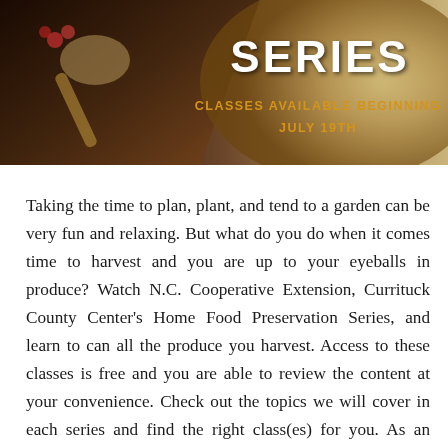[Figure (illustration): Banner image showing mason jars and a wooden spoon with food preservation theme. Text overlay reads 'SERIES' in large white bold letters, and 'CLASSES AVAILABLE BEGINNING JULY 19TH' in orange text below.]
Taking the time to plan, plant, and tend to a garden can be very fun and relaxing. But what do you do when it comes time to harvest and you are up to your eyeballs in produce? Watch N.C. Cooperative Extension, Currituck County Center's Home Food Preservation Series, and learn to can all the produce you harvest. Access to these classes is free and you are able to review the content at your convenience. Check out the topics we will cover in each series and find the right class(es) for you. As an added bonus we are giving away digital copies of the Ball Blue Book and for local